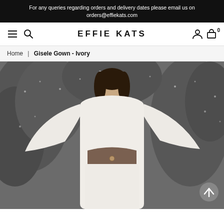For any queries regarding orders and delivery dates please email us on orders@effiekats.com
[Figure (logo): EFFIE KATS brand logo and navigation bar with hamburger menu, search icon, account icon, and cart icon showing 0 items]
Home | Gisele Gown - Ivory
[Figure (photo): A model wearing a white long-sleeve cut-out gown (Gisele Gown in Ivory) by Effie Kats, photographed against a floral/foliage background]